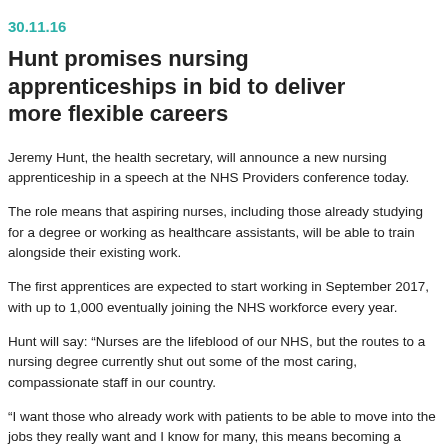30.11.16
Hunt promises nursing apprenticeships in bid to deliver more flexible careers
Jeremy Hunt, the health secretary, will announce a new nursing apprenticeship in a speech at the NHS Providers conference today.
The role means that aspiring nurses, including those already studying for a degree or working as healthcare assistants, will be able to train alongside their existing work.
The first apprentices are expected to start working in September 2017, with up to 1,000 eventually joining the NHS workforce every year.
Hunt will say: “Nurses are the lifeblood of our NHS, but the routes to a nursing degree currently shut out some of the most caring, compassionate staff in our country.
“I want those who already work with patients to be able to move into the jobs they really want and I know for many, this means becoming a nurse. Not everyone